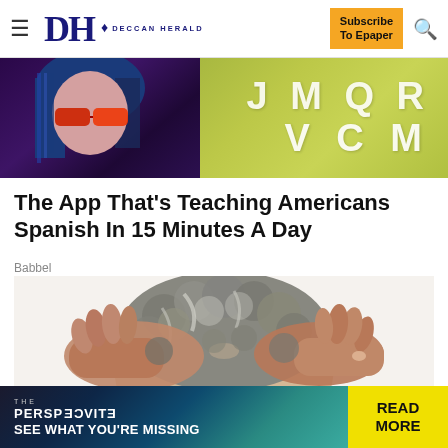Deccan Herald — Subscribe To Epaper
[Figure (photo): Top banner with woman in red glasses on left (purple/dark background) and green background with letters on right]
The App That's Teaching Americans Spanish In 15 Minutes A Day
Babbel
[Figure (photo): Photo of a person's head from behind with gray hair, hands pressing on sides of head, white background]
[Figure (infographic): THE PERSPECTIVE banner — SEE WHAT YOU'RE MISSING — READ MORE button in yellow]